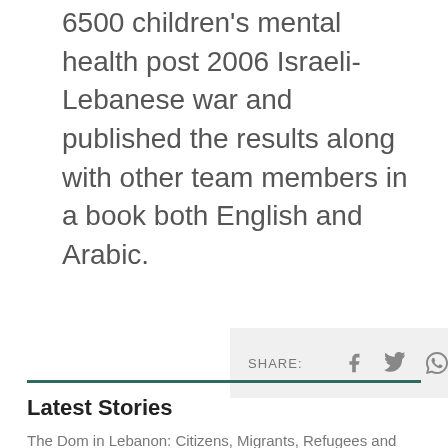6500 children's mental health post 2006 Israeli-Lebanese war and published the results along with other team members in a book both English and Arabic.
SHARE:
Latest Stories
The Dom in Lebanon: Citizens, Migrants, Refugees and